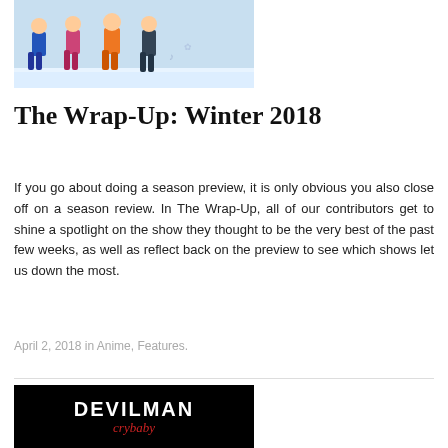[Figure (illustration): Anime-style illustration of children walking in a snowy winter scene, wearing colorful winter clothing]
The Wrap-Up: Winter 2018
If you go about doing a season preview, it is only obvious you also close off on a season review. In The Wrap-Up, all of our contributors get to shine a spotlight on the show they thought to be the very best of the past few weeks, as well as reflect back on the preview to see which shows let us down the most.
April 2, 2018 in Anime, Features.
[Figure (logo): DEVILMAN crybaby logo — white bold text DEVILMAN with red cursive crybaby below, on black background]